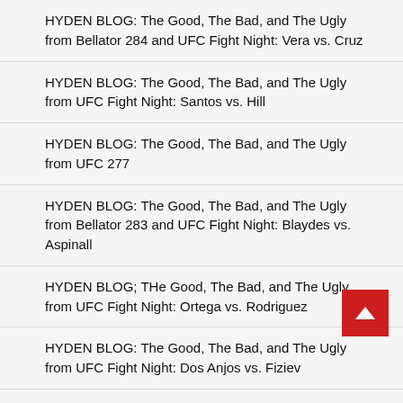HYDEN BLOG: The Good, The Bad, and The Ugly from Bellator 284 and UFC Fight Night: Vera vs. Cruz
HYDEN BLOG: The Good, The Bad, and The Ugly from UFC Fight Night: Santos vs. Hill
HYDEN BLOG: The Good, The Bad, and The Ugly from UFC 277
HYDEN BLOG: The Good, The Bad, and The Ugly from Bellator 283 and UFC Fight Night: Blaydes vs. Aspinall
HYDEN BLOG; THe Good, The Bad, and The Ugly from UFC Fight Night: Ortega vs. Rodriguez
HYDEN BLOG: The Good, The Bad, and The Ugly from UFC Fight Night: Dos Anjos vs. Fiziev
HYDEN BLOG: The Good, The Bad, and The Ugly from UFC 276
3 Fights To Watch 7/1/22
HYDEN BLOG: The Good, The Bad, and The Ugly from